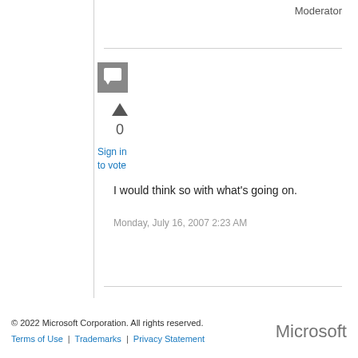Moderator
[Figure (other): Gray avatar icon with speech bubble/reply symbol]
0
Sign in to vote
I would think so with what's going on.
Monday, July 16, 2007 2:23 AM
© 2022 Microsoft Corporation. All rights reserved. Terms of Use | Trademarks | Privacy Statement